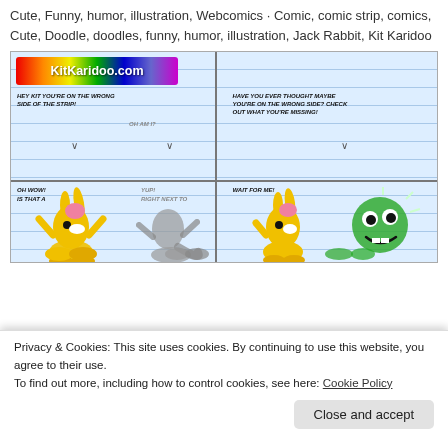Cute, Funny, humor, illustration, Webcomics · Comic, comic strip, comics, Cute, Doodle, doodles, funny, humor, illustration, Jack Rabbit, Kit Karidoo
[Figure (illustration): KitKaridoo.com webcomic strip showing a yellow rabbit character (Kit) and a grey shadow character on lined notebook paper background. Left panel: 'Hey Kit you're on the wrong side of the strip!' 'Oh am I?' Right panel: 'Have you ever thought maybe you're on the wrong side? Check out what you're missing!' showing Kit with a green frog character. Bottom partial panel shows 'Oh wow! Is that a...' 'Yup! Right next to...' 'Wait for me!']
Privacy & Cookies: This site uses cookies. By continuing to use this website, you agree to their use.
To find out more, including how to control cookies, see here: Cookie Policy
Close and accept